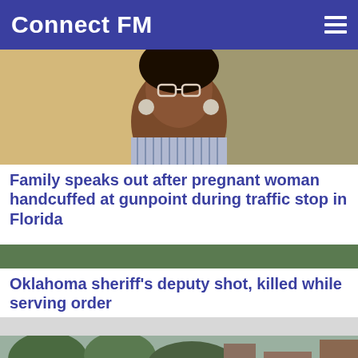Connect FM
[Figure (photo): Photo of a Black woman wearing glasses and hoop earrings, sitting indoors]
Family speaks out after pregnant woman handcuffed at gunpoint during traffic stop in Florida
[Figure (photo): Close-up photo of police car light bar with blue and red lights]
Oklahoma sheriff's deputy shot, killed while serving order
[Figure (photo): Aerial or street view photo of a city area with trees and buildings]